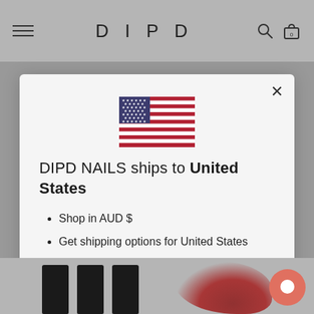DIPD
[Figure (screenshot): US flag SVG illustration]
DIPD NAILS ships to United States
Shop in AUD $
Get shipping options for United States
SHOP NOW
CHANGE SHIPPING COUNTRY